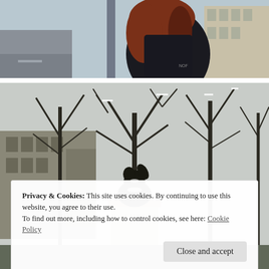[Figure (photo): A person with reddish-brown hair wearing a black jacket and backpack, viewed from behind, standing on a street in winter. Buildings and a road visible in the background.]
[Figure (photo): A winter urban scene with snow-dusted bare trees and a dark sculpture/statue on a stone pedestal in a park or square. Buildings visible in the background.]
Privacy & Cookies: This site uses cookies. By continuing to use this website, you agree to their use.
To find out more, including how to control cookies, see here: Cookie Policy
Close and accept